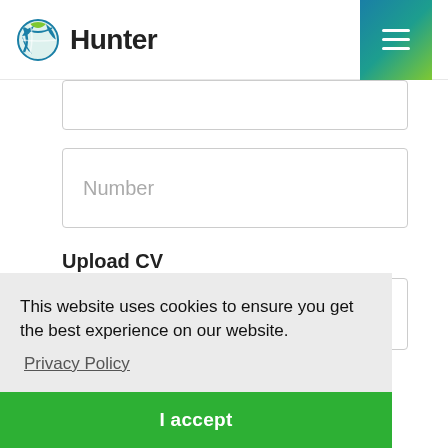Hunter
Number
Upload CV
Choose File   No file chosen
This website uses cookies to ensure you get the best experience on our website. Privacy Policy
I accept
Share this